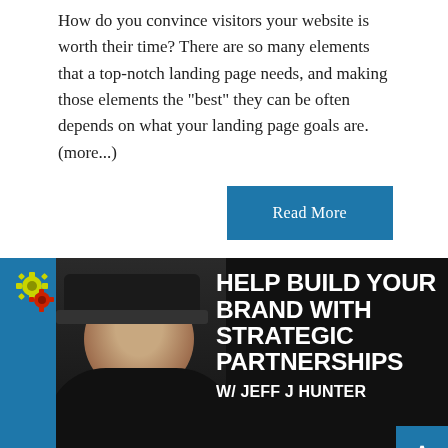How do you convince visitors your website is worth their time? There are so many elements that a top-notch landing page needs, and making those elements the "best" they can be often depends on what your landing page goals are. (more...)
[Figure (other): Blue 'Read More' button on white background]
[Figure (photo): Promotional banner with dark background showing a man in a baseball cap, blue left stripe with gear icons, white bold text reading 'HELP BUILD YOUR BRAND WITH STRATEGIC PARTNERSHIPS W/ JEFF J HUNTER'. Blue scroll-to-top button in bottom right.]